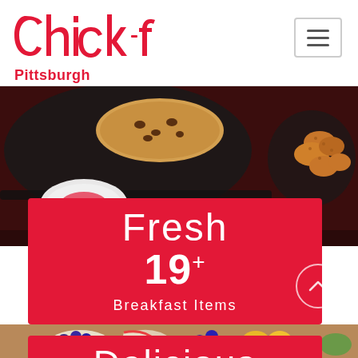[Figure (logo): Chick-fil-A logo in red script with Pittsburgh text below]
[Figure (photo): Food items in black trays including a cookie/biscuit and fried chicken nuggets on dark red background]
Fresh
19+
Breakfast Items
[Figure (photo): Fruit cup with blueberries and apple slices, partially visible]
Delicious